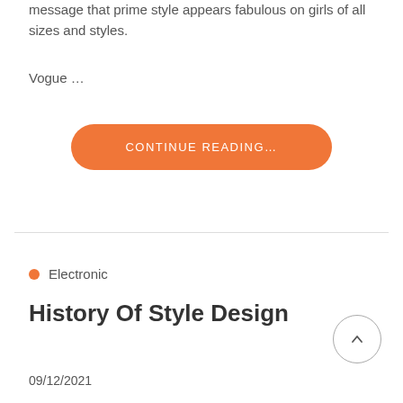message that prime style appears fabulous on girls of all sizes and styles.
Vogue …
CONTINUE READING…
Electronic
History Of Style Design
09/12/2021